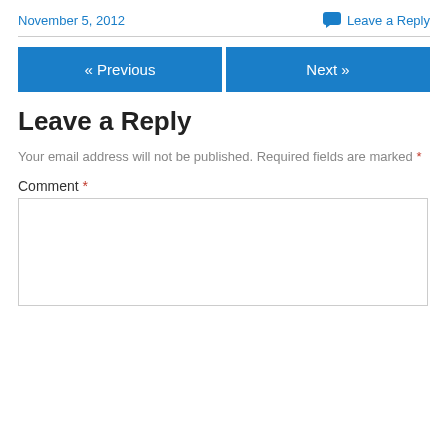November 5, 2012
Leave a Reply
« Previous
Next »
Leave a Reply
Your email address will not be published. Required fields are marked *
Comment *